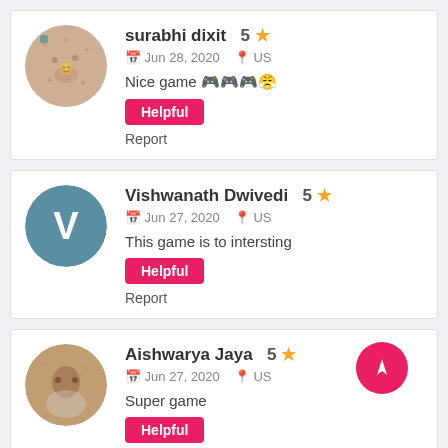[Figure (photo): Profile photo of surabhi dixit, circular avatar]
surabhi dixit  5 ★
📅 Jun 28, 2020   📍 US
Nice game 🎮🎮🎮😤
Helpful
Report
[Figure (illustration): Avatar with letter V for Vishwanath Dwivedi]
Vishwanath Dwivedi  5 ★
📅 Jun 27, 2020   📍 US
This game is to intersting
Helpful
Report
[Figure (photo): Profile photo of Aishwarya Jaya, circular avatar]
Aishwarya Jaya  5 ★
📅 Jun 27, 2020   📍 US
Super game
Helpful